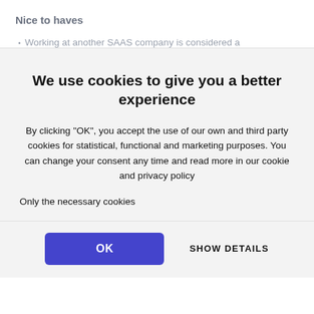Nice to haves
Working at another SAAS company is considered a
We use cookies to give you a better experience
By clicking "OK", you accept the use of our own and third party cookies for statistical, functional and marketing purposes. You can change your consent any time and read more in our cookie and privacy policy
Only the necessary cookies